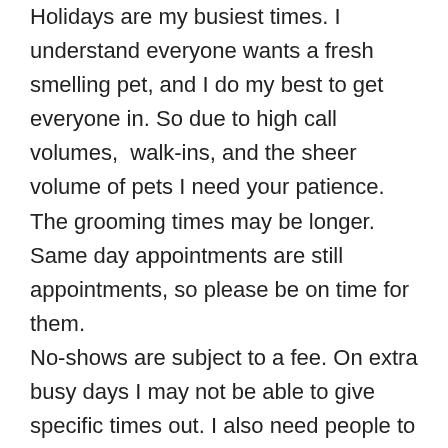Holidays are my busiest times. I understand everyone wants a fresh smelling pet, and I do my best to get everyone in. So due to high call volumes,  walk-ins, and the sheer volume of pets I need your patience. The grooming times may be longer. Same day appointments are still appointments, so please be on time for them.
No-shows are subject to a fee. On extra busy days I may not be able to give specific times out. I also need people to pick up their pets as soon as they are ready to make room for more pets, so I can't do holds on extra busy days. I appologize for any inconvienence and are so very grateful you chose Pawsitively Primped!